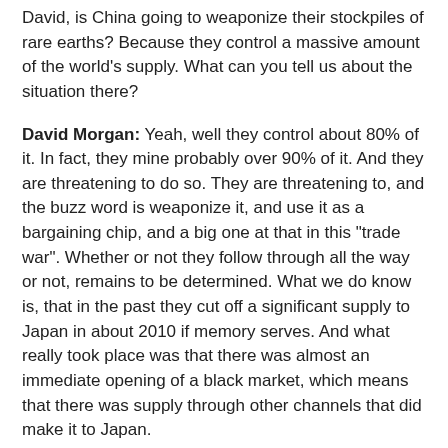David, is China going to weaponize their stockpiles of rare earths? Because they control a massive amount of the world's supply. What can you tell us about the situation there?
David Morgan: Yeah, well they control about 80% of it. In fact, they mine probably over 90% of it. And they are threatening to do so. They are threatening to, and the buzz word is weaponize it, and use it as a bargaining chip, and a big one at that in this "trade war". Whether or not they follow through all the way or not, remains to be determined. What we do know is, that in the past they cut off a significant supply to Japan in about 2010 if memory serves. And what really took place was that there was almost an immediate opening of a black market, which means that there was supply through other channels that did make it to Japan.
The other part of it is, if they succeed in doing this